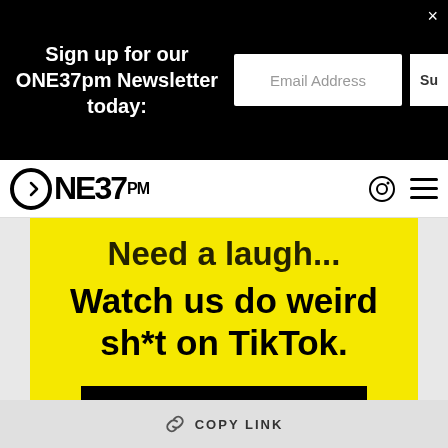Sign up for our ONE37pm Newsletter today:
Email Address
Su
[Figure (logo): ONE37pm logo with circular icon and text]
Need a laugh... Watch us do weird sh*t on TikTok.
FOLLOW US
COPY LINK